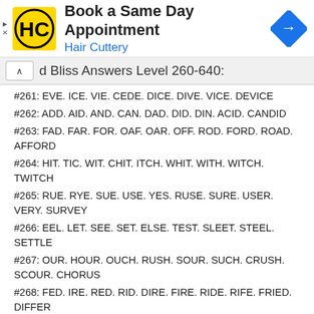[Figure (other): Hair Cuttery advertisement banner with logo, 'Book a Same Day Appointment' text, and a blue navigation arrow icon]
d Bliss Answers Level 260-640:
#261: EVE. ICE. VIE. CEDE. DICE. DIVE. VICE. DEVICE
#262: ADD. AID. AND. CAN. DAD. DID. DIN. ACID. CANDID
#263: FAD. FAR. FOR. OAF. OAR. OFF. ROD. FORD. ROAD. AFFORD
#264: HIT. TIC. WIT. CHIT. ITCH. WHIT. WITH. WITCH. TWITCH
#265: RUE. RYE. SUE. USE. YES. RUSE. SURE. USER. VERY. SURVEY
#266: EEL. LET. SEE. SET. ELSE. TEST. SLEET. STEEL. SETTLE
#267: OUR. HOUR. OUCH. RUSH. SOUR. SUCH. CRUSH. SCOUR. CHORUS
#268: FED. IRE. RED. RID. DIRE. FIRE. RIDE. RIFE. FRIED. DIFFER